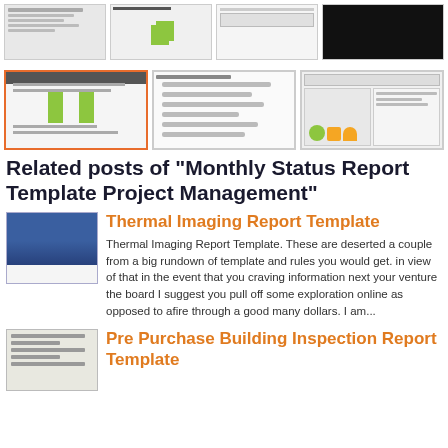[Figure (screenshot): Top row of document thumbnail images including text documents, a chart with green bars, a blank/table document, and a dark/black image]
[Figure (screenshot): Second row of document thumbnails: a Gantt-style chart with orange border and green bars, a list-style document, a grid/table document with colored cells including green and yellow shapes]
Related posts of "Monthly Status Report Template Project Management"
[Figure (screenshot): Thumbnail of Thermal Imaging Report Template showing blue thermal image]
Thermal Imaging Report Template
Thermal Imaging Report Template. These are deserted a couple from a big rundown of template and rules you would get. in view of that in the event that you craving information next your venture the board I suggest you pull off some exploration online as opposed to afire through a good many dollars. I am...
[Figure (screenshot): Thumbnail of Pre Purchase Building Inspection Report Template showing text lines]
Pre Purchase Building Inspection Report Template